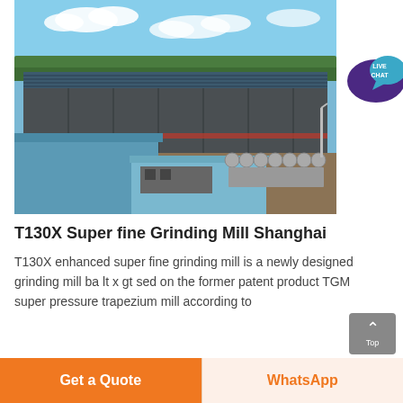[Figure (photo): Aerial view of a large industrial manufacturing facility with blue-roofed warehouses, trucks, and concrete mixers parked outside. The building has a dark grey facade. Trees and blue sky with clouds in the background.]
T130X Super fine Grinding Mill Shanghai
T130X enhanced super fine grinding mill is a newly designed grinding mill ba lt x gt sed on the former patent product TGM super pressure trapezium mill according to